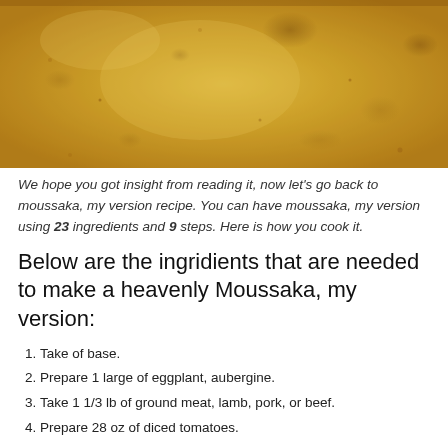[Figure (photo): Close-up photo of moussaka dish with golden-brown béchamel topping, slightly textured surface with browned spots]
We hope you got insight from reading it, now let's go back to moussaka, my version recipe. You can have moussaka, my version using 23 ingredients and 9 steps. Here is how you cook it.
Below are the ingridients that are needed to make a heavenly Moussaka, my version:
Take of base.
Prepare 1 large of eggplant, aubergine.
Take 1 1/3 lb of ground meat, lamb, pork, or beef.
Prepare 28 oz of diced tomatoes.